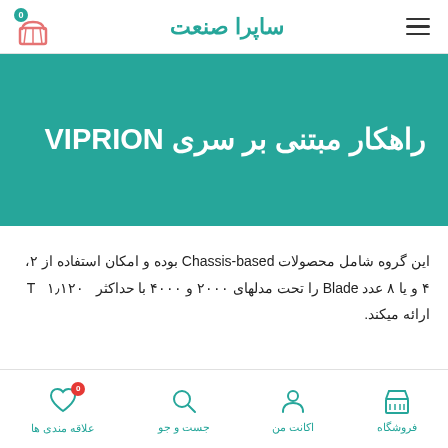ساپرا صنعت
راهکار مبتنی بر سری VIPRION
این گروه شامل محصولات Chassis-based بوده و امکان استفاده از ۲، ۴ و یا ۸ عدد Blade را تحت مدلهای ۲۰۰۰ و ۴۰۰۰ با حداکثر  ۱٫۱۲۰ T ارائه میکند.
علاقه مندی ها | جست و جو | اکانت من | فروشگاه